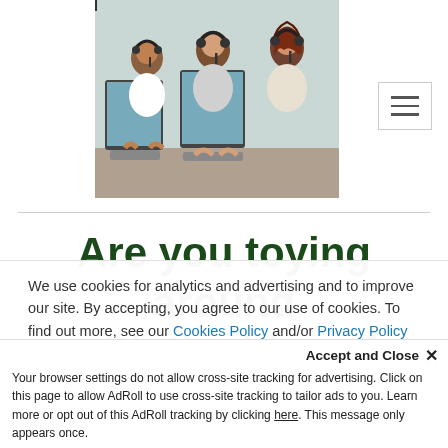[Figure (photo): Photo of call center workers wearing headsets, seated at computers, working in a row.]
Are you toying around with the idea of outsourcing B2B
We use cookies for analytics and advertising and to improve our site. By accepting, you agree to our use of cookies. To find out more, see our Cookies Policy and/or Privacy Policy
Accept and Close ✕
Your browser settings do not allow cross-site tracking for advertising. Click on this page to allow AdRoll to use cross-site tracking to tailor ads to you. Learn more or opt out of this AdRoll tracking by clicking here. This message only appears once.